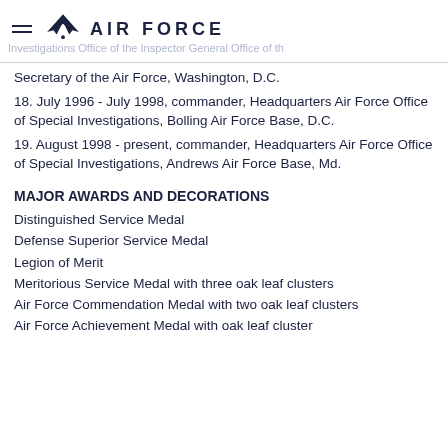AIR FORCE
Secretary of the Air Force, Washington, D.C.
18. July 1996 - July 1998, commander, Headquarters Air Force Office of Special Investigations, Bolling Air Force Base, D.C.
19. August 1998 - present, commander, Headquarters Air Force Office of Special Investigations, Andrews Air Force Base, Md.
MAJOR AWARDS AND DECORATIONS
Distinguished Service Medal
Defense Superior Service Medal
Legion of Merit
Meritorious Service Medal with three oak leaf clusters
Air Force Commendation Medal with two oak leaf clusters
Air Force Achievement Medal with oak leaf cluster